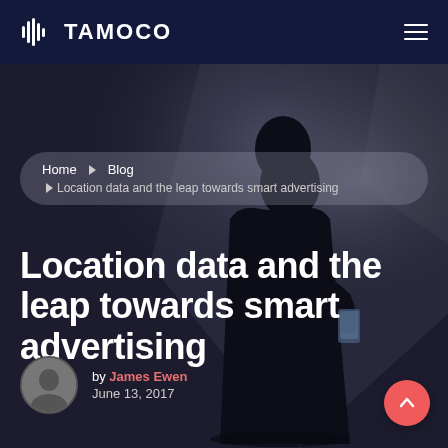TAMOCO
[Figure (photo): Dark silhouette of a person looking at a smartphone against a dark moody background with dramatic lighting]
Home ▶ Blog ▶ Location data and the leap towards smart advertising
Location data and the leap towards smart advertising
by James Ewen
June 13, 2017